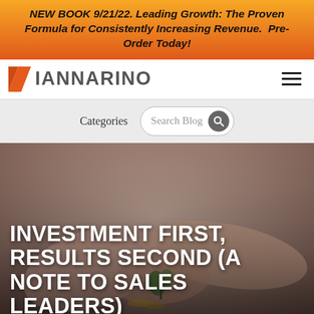NEW BOOK 9/21/22. Leading Growth: The Proven Formula for Consistently Increasing Revenue. Pre-Order Today!
[Figure (logo): Iannarino logo with orange triangle and grey text IANNARINO, plus hamburger menu icon on the right]
[Figure (screenshot): Navigation row with Categories text link, Search Blog input field, and search icon button]
[Figure (photo): Close-up photo of human hands cradling a small green plant seedling, warm muted tones with a blurred background]
INVESTMENT FIRST, RESULTS SECOND (A NOTE TO SALES LEADERS)